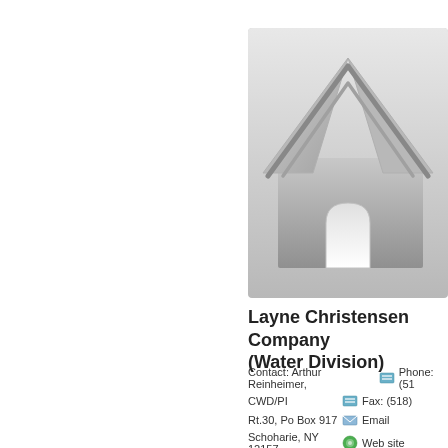[Figure (illustration): A grayscale house icon/illustration inside a rounded rectangle frame, showing a house with a chimney-like roof peak and an arched doorway. Colors are silver/gray gradients.]
Layne Christensen Company (Water Division)
Contact: Arthur Reinheimer,
Phone: (51...
CWD/PI
Fax: (518)...
Rt.30, Po Box 917
Email
Schoharie, NY 12157
Web site